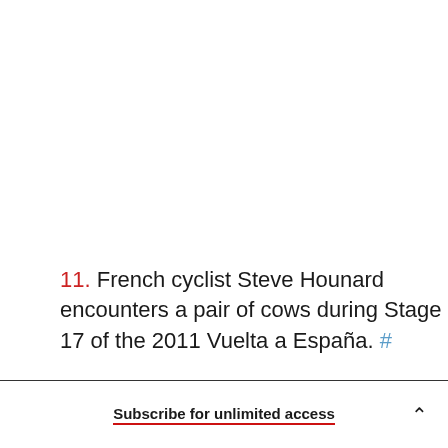11. French cyclist Steve Hounard encounters a pair of cows during Stage 17 of the 2011 Vuelta a España. #
Subscribe for unlimited access